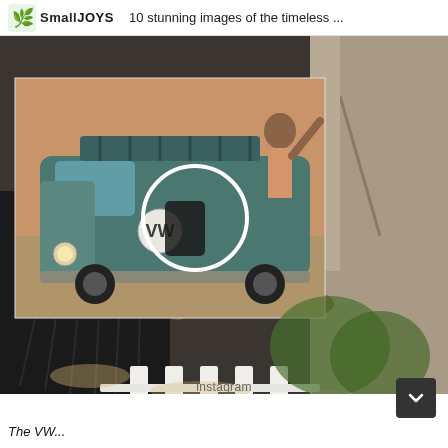SmallJOYS  10 stunning images of the timeless ...
[Figure (photo): Two people holding a large photograph/print of a VW camper van (Volkswagen Bus) on a beach. A white circle is drawn on the image highlighting a detail. The person on the left wears black leather outfit, the person on the right wears a light grey suit. The setting appears to be outdoors with white fencing and greenery in the background.]
Instagram
The VW...